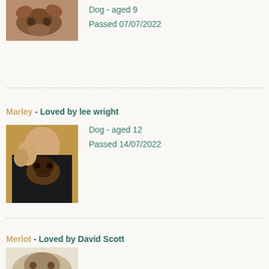[Figure (photo): Partial photo of a dog lying on carpet, viewed from above]
Dog - aged 9
Passed 07/07/2022
Marley - Loved by lee wright
[Figure (photo): Photo of a person hugging a large dog, German Shepherd type]
Dog - aged 12
Passed 14/07/2022
Merlot - Loved by David Scott
[Figure (photo): Partial photo of a dog, light colored, partially visible at bottom of page]